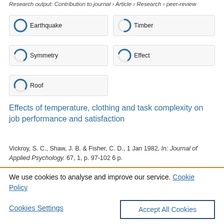Research output: Contribution to journal › Article › Research › peer-review
Earthquake
Timber
Symmetry
Effect
Roof
Effects of temperature, clothing and task complexity on job performance and satisfaction
Vickroy, S. C., Shaw, J. B. & Fisher, C. D., 1 Jan 1982, In: Journal of Applied Psychology. 67, 1, p. 97-102 6 p.
We use cookies to analyse and improve our service. Cookie Policy
Cookies Settings
Accept All Cookies